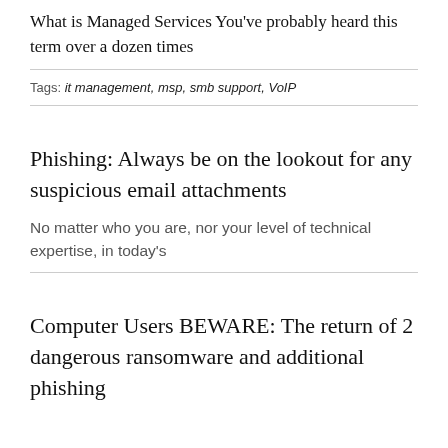What is Managed Services You've probably heard this term over a dozen times
Tags: it management, msp, smb support, VoIP
Phishing: Always be on the lookout for any suspicious email attachments
No matter who you are, nor your level of technical expertise, in today's
Computer Users BEWARE: The return of 2 dangerous ransomware and additional phishing